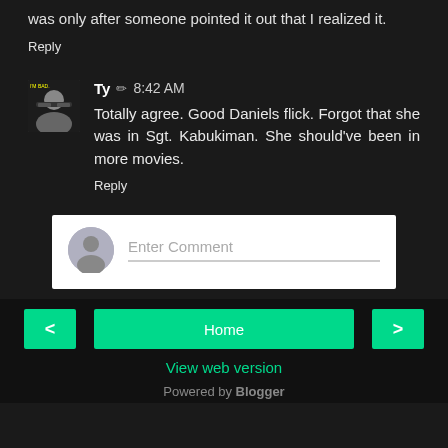was only after someone pointed it out that I realized it.
Reply
Ty ✏ 8:42 AM
Totally agree. Good Daniels flick. Forgot that she was in Sgt. Kabukiman. She should've been in more movies.
Reply
[Figure (other): Comment input box with default avatar and 'Enter Comment' placeholder text]
< Home > View web version Powered by Blogger